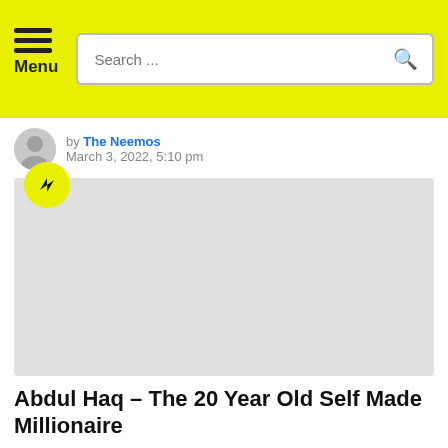Menu | Search ...
by The Neemos
March 3, 2022, 5:10 pm
[Figure (photo): Gray placeholder image with a yellow BuzzFeed-style badge in the top-left corner]
Abdul Haq – The 20 Year Old Self Made Millionaire
by The Neemos